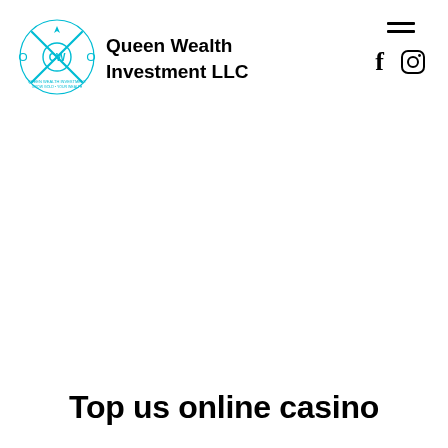[Figure (logo): Queen Wealth Investment LLC logo — circular emblem with crossed items and decorative border in teal/cyan]
Queen Wealth Investment LLC
[Figure (other): Hamburger menu icon (three horizontal lines)]
[Figure (other): Facebook and Instagram social media icons]
Top us online casino